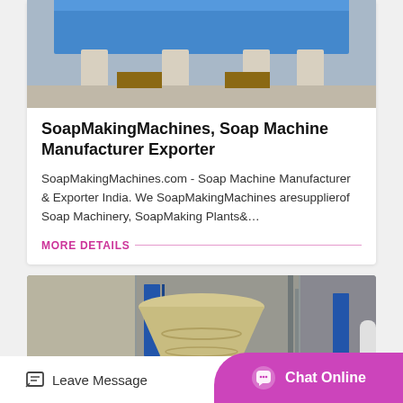[Figure (photo): Industrial soap making machine with blue frame on concrete floor]
SoapMakingMachines, Soap Machine Manufacturer Exporter
SoapMakingMachines.com - Soap Machine Manufacturer & Exporter India. We SoapMakingMachines aresupplierof Soap Machinery, SoapMaking Plants&…
MORE DETAILS
[Figure (photo): Large industrial cone-shaped machine in a factory building with Chinese signage]
Leave Message   Chat Online